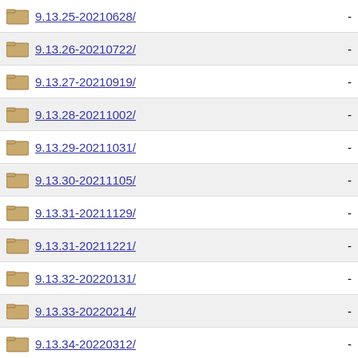9.13.25-20210628/  -
9.13.26-20210722/  -
9.13.27-20210919/  -
9.13.28-20211002/  -
9.13.29-20211031/  -
9.13.30-20211105/  -
9.13.31-20211129/  -
9.13.31-20211221/  -
9.13.32-20220131/  -
9.13.33-20220214/  -
9.13.34-20220312/  -
9.13.35-20220320/  -
9.13.36-20220403/  -
9.13.37-20220411/  -